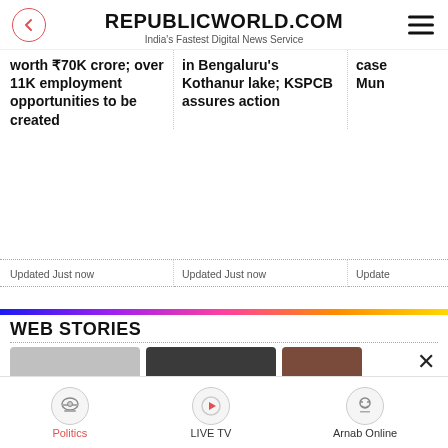REPUBLICWORLD.COM — India's Fastest Digital News Service
worth ₹70K crore; over 11K employment opportunities to be created
in Bengaluru's Kothanur lake; KSPCB assures action
case Mum
Updated Just now
Updated Just now
Update
WEB STORIES
[Figure (screenshot): Web stories thumbnail strip showing partial images of news stories]
Politics | LIVE TV | Arnab Online